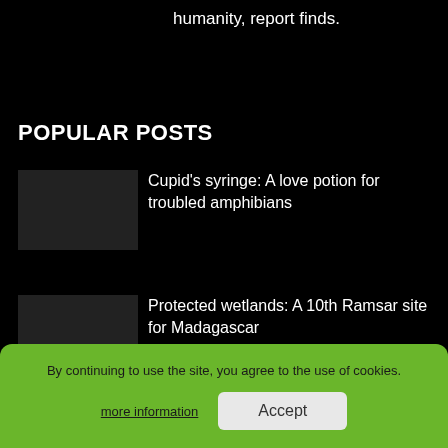humanity, report finds.
POPULAR POSTS
Cupid's syringe: A love potion for troubled amphibians
Protected wetlands: A 10th Ramsar site for Madagascar
Success! Biologists may have found a way to eliminate amphibian-killing fungus…
By continuing to use the site, you agree to the use of cookies.
more information
Accept